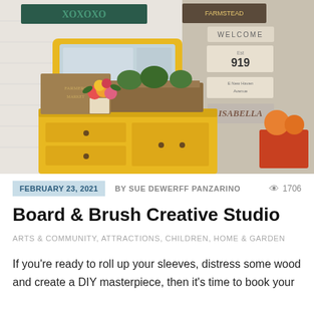[Figure (photo): Interior of a creative studio or shop showing a yellow painted dresser with a yellow-framed mirror, wooden crate planter with greenery, a floral arrangement in a white box, painted wooden signs on the wall including 'WELCOME' and '919 E New Haven Avenue', and decorative items.]
FEBRUARY 23, 2021   BY SUE DEWERFF PANZARINO   1706
Board & Brush Creative Studio
ARTS & COMMUNITY, ATTRACTIONS, CHILDREN, HOME & GARDEN
If you're ready to roll up your sleeves, distress some wood and create a DIY masterpiece, then it's time to book your